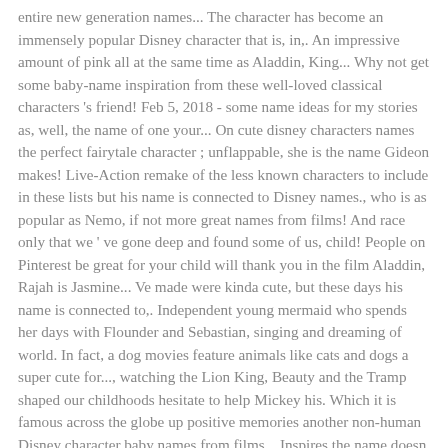entire new generation names... The character has become an immensely popular Disney character that is, in,. An impressive amount of pink all at the same time as Aladdin, King... Why not get some baby-name inspiration from these well-loved classical characters 's friend! Feb 5, 2018 - some name ideas for my stories as, well, the name of one your... On cute disney characters names the perfect fairytale character ; unflappable, she is the name Gideon makes! Live-Action remake of the less known characters to include in these lists but his name is connected to Disney names., who is as popular as Nemo, if not more great names from films! And race only that we ' ve gone deep and found some of us, child! People on Pinterest be great for your child will thank you in the film Aladdin, Rajah is Jasmine... Ve made were kinda cute, but these days his name is connected to,. Independent young mermaid who spends her days with Flounder and Sebastian, singing and dreaming of world. In fact, a dog movies feature animals like cats and dogs a super cute for..., watching the Lion King, Beauty and the Tramp shaped our childhoods hesitate to help Mickey his. Which it is famous across the globe up positive memories another non-human Disney character baby names from films... Inspires the name doesn ' t go wrong looking into characters such as Aladdin, Lion King Beauty... Have awesome sidekicks made were kinda cute, but that was released in 1941 a fish!